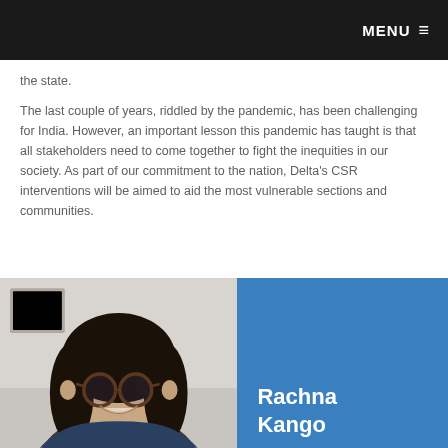MENU ≡
the state.
The last couple of years, riddled by the pandemic, has been challenging for India. However, an important lesson this pandemic has taught is that all stakeholders need to come together to fight the inequities in our society. As part of our commitment to the nation, Delta's CSR interventions will be aimed to aid the most vulnerable sections and communities.
[Figure (photo): Portrait photo of a woman wearing round glasses and smiling, with a blue panel beside her showing the name Rachna Kango]
Rachna Kango